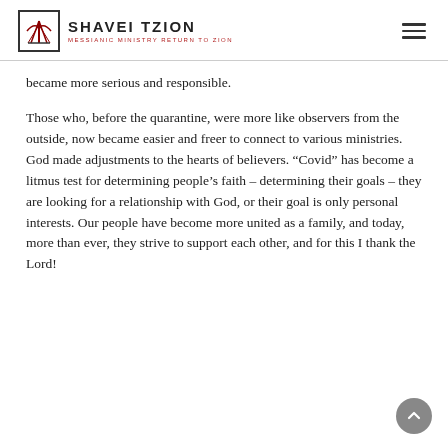SHAVEI TZION — Messianic Ministry Return to Zion
became more serious and responsible.
Those who, before the quarantine, were more like observers from the outside, now became easier and freer to connect to various ministries. God made adjustments to the hearts of believers. “Covid” has become a litmus test for determining people’s faith – determining their goals – they are looking for a relationship with God, or their goal is only personal interests. Our people have become more united as a family, and today, more than ever, they strive to support each other, and for this I thank the Lord!